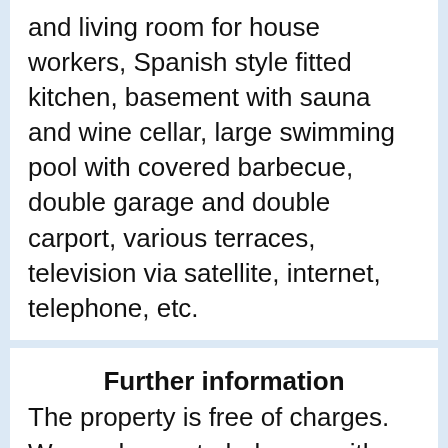and living room for house workers, Spanish style fitted kitchen, basement with sauna and wine cellar, large swimming pool with covered barbecue, double garage and double carport, various terraces, television via satellite, internet, telephone, etc.
Further information
The property is free of charges. We are happy to help you with financing through a Spanish bank.
0 Favorite